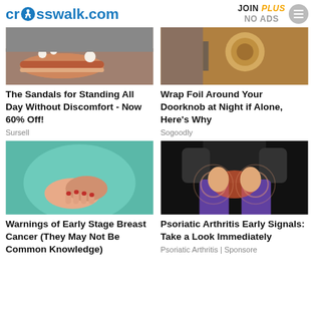crosswalk.com | JOIN PLUS NO ADS
[Figure (photo): Photo of sandals/flip flops]
The Sandals for Standing All Day Without Discomfort - Now 60% Off!
Sursell
[Figure (photo): Photo of a doorknob]
Wrap Foil Around Your Doorknob at Night if Alone, Here's Why
Sogoodly
[Figure (photo): Photo of a woman touching her chest]
Warnings of Early Stage Breast Cancer (They May Not Be Common Knowledge)
[Figure (photo): Photo of a person with hip/joint pain highlighted]
Psoriatic Arthritis Early Signals: Take a Look Immediately
Psoriatic Arthritis | Sponsore